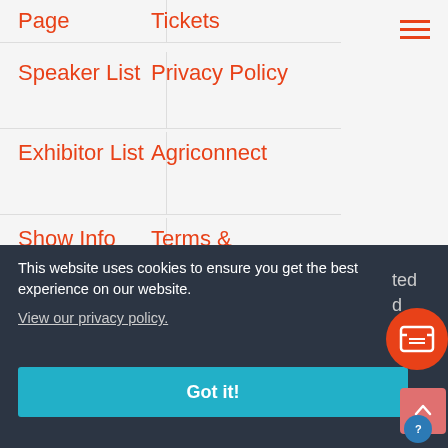Page
Tickets
Speaker List
Privacy Policy
Exhibitor List
Agriconnect
Show Info
Terms & Conditions
This website uses cookies to ensure you get the best experience on our website.
View our privacy policy.
Got it!